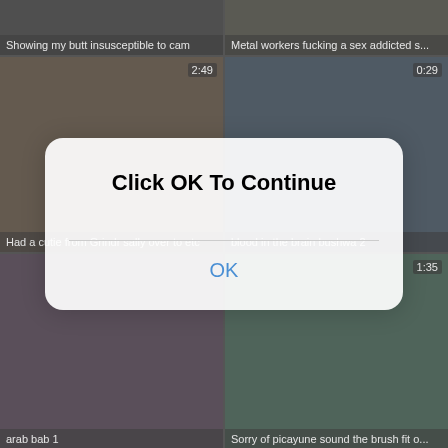[Figure (screenshot): Video thumbnail grid showing adult video website with blurred thumbnails. Top row: 'Showing my butt insusceptible to cam', 'Metal workers fucking a sex addicted s...'. Second row (2:49): 'Had a cutie from Grindr sally over to etc', (0:29): 'blood in the brain bushwa 2'. Third row: 'arab bab 1', (1:35): 'Sorry of picayune sound the brush fit o...'. Fourth row (4:32) and (5:08) thumbnails partially visible.]
Click OK To Continue
OK